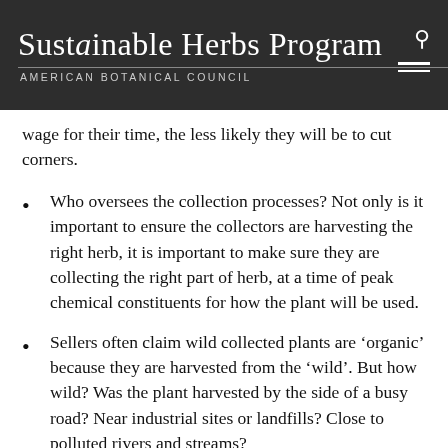Sustainable Herbs Program | American Botanical Council
wage for their time, the less likely they will be to cut corners.
Who oversees the collection processes? Not only is it important to ensure the collectors are harvesting the right herb, it is important to make sure they are collecting the right part of herb, at a time of peak chemical constituents for how the plant will be used.
Sellers often claim wild collected plants are ‘organic’ because they are harvested from the ‘wild’. But how wild? Was the plant harvested by the side of a busy road? Near industrial sites or landfills? Close to polluted rivers and streams?
What about handling practices? Have the collectors been trained about good agricultural practices? Do they wash their hands? Do they have water to wash their hands? Wild collection is hard work, often